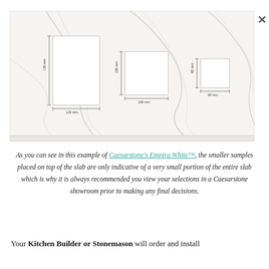[Figure (photo): A marble slab (Caesarstone Empira White) with three rectangular sample tiles placed on top at different positions, each showing dimensions. Left sample: 130mm tall x 120mm wide. Center sample: 100mm tall x 100mm wide. Right sample: approximately 60mm x 60mm. A close (X) button appears at top right.]
As you can see in this example of Caesarstone's Empira White™, the smaller samples placed on top of the slab are only indicative of a very small portion of the entire slab which is why it is always recommended you view your selections in a Caesarstone showroom prior to making any final decisions.
Your Kitchen Builder or Stonemason will order and install